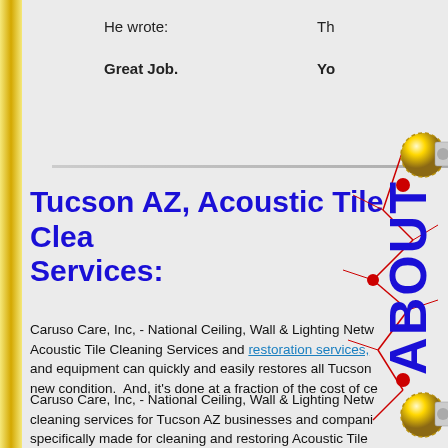He wrote:
Great Job.
Th
Yo
Tucson AZ, Acoustic Tile Cleaning Services:
Caruso Care, Inc, - National Ceiling, Wall & Lighting Network - Acoustic Tile Cleaning Services and restoration services, and equipment can quickly and easily restores all Tucson new condition. And, it's done at a fraction of the cost of ce
Caruso Care, Inc, - National Ceiling, Wall & Lighting Network - cleaning services for Tucson AZ businesses and companies specifically made for cleaning and restoring Acoustic Tile managers, manufacturing facilities, restaurants, industrial